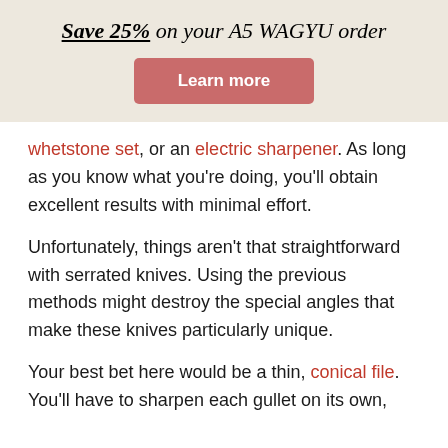Save 25% on your A5 WAGYU order
[Figure (other): Pink/rose colored button with white bold text 'Learn more']
whetstone set, or an electric sharpener. As long as you know what you're doing, you'll obtain excellent results with minimal effort.
Unfortunately, things aren't that straightforward with serrated knives. Using the previous methods might destroy the special angles that make these knives particularly unique.
Your best bet here would be a thin, conical file. You'll have to sharpen each gullet on its own,